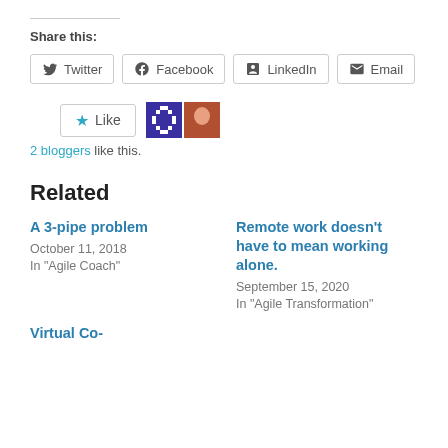Share this:
Twitter | Facebook | LinkedIn | Email
[Figure (other): Like button with star icon and two blogger avatars (pixel art and photo thumbnails). Text: 2 bloggers like this.]
Related
A 3-pipe problem
October 11, 2018
In "Agile Coach"
Remote work doesn't have to mean working alone.
September 15, 2020
In "Agile Transformation"
Virtual Co-